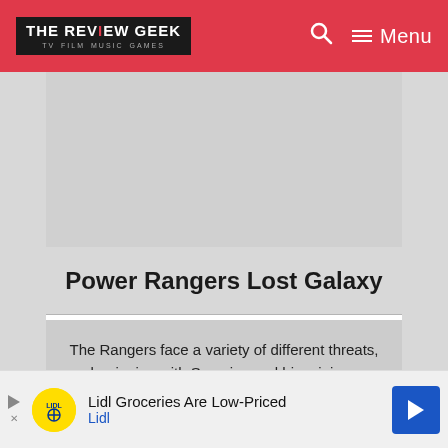THE REVIEW GEEK — TV FILM MUSIC GAMES
Power Rangers Lost Galaxy
The Rangers face a variety of different threats, beginning with Scorpius and his minions before eventually mixing things up and introducing Captain Mutiny and his minions.
2000